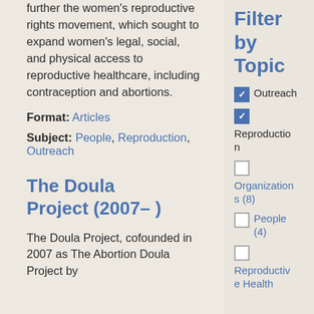further the women's reproductive rights movement, which sought to expand women's legal, social, and physical access to reproductive healthcare, including contraception and abortions.
Format: Articles
Subject: People, Reproduction, Outreach
The Doula Project (2007– )
The Doula Project, cofounded in 2007 as The Abortion Doula Project by
Filter by Topic
Outreach (checked)
Reproduction (checked)
Organizations (8) (unchecked)
People (4) (unchecked)
Reproductive Health (unchecked)